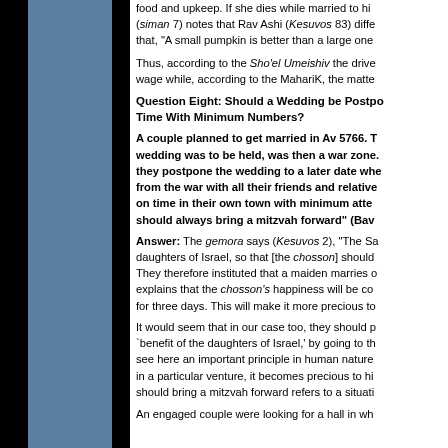food and upkeep. If she dies while married to hi... (siman 7) notes that Rav Ashi (Kesuvos 83) diff... that, "A small pumpkin is better than a large one...
Thus, according to the Sho'el Umeishiv the drive... wage while, according to the MahariK, the matte...
Question Eight: Should a Wedding be Postpo... Time With Minimum Numbers?
A couple planned to get married in Av 5766. T... wedding was to be held, was then a war zone... they postpone the wedding to a later date wh... from the war with all their friends and relative... on time in their own town with minimum atte... should always bring a mitzvah forward" (Bav...
Answer: The gemora says (Kesuvos 2), "The Sa... daughters of Israel, so that [the chosson] should... They therefore instituted that a maiden marries o... explains that the chosson's happiness will be co... for three days. This will make it more precious to...
It would seem that in our case too, they should p... `benefit of the daughters of Israel,' by going to th... see here an important principle in human nature... in a particular venture, it becomes precious to hi... should bring a mitzvah forward refers to a situati...
An engaged couple were looking for a hall in wh...